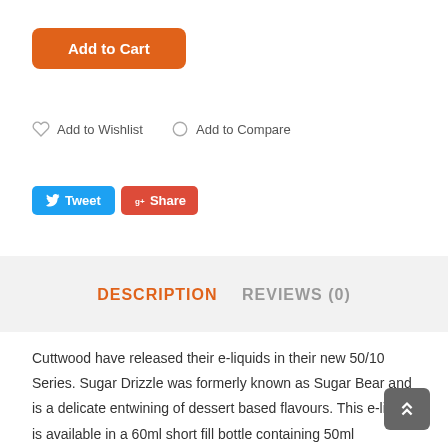[Figure (screenshot): Add to Cart button (orange, rounded)]
Add to Wishlist   Add to Compare
[Figure (screenshot): Tweet and Share social buttons]
DESCRIPTION   REVIEWS (0)
Cuttwood have released their e-liquids in their new 50/10 Series. Sugar Drizzle was formerly known as Sugar Bear and is a delicate entwining of dessert based flavours. This e-liquid is available in a 60ml short fill bottle containing 50ml